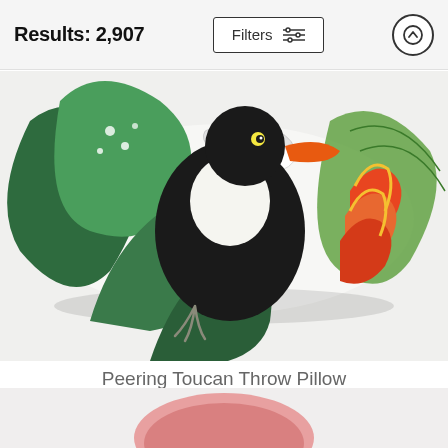Results: 2,907
[Figure (photo): A decorative throw pillow featuring an illustrated toucan bird with tropical leaves and a red heliconia flower on a white background.]
Peering Toucan Throw Pillow
Patricia Pinto
$28
[Figure (photo): Bottom portion of a pink throw pillow, partially visible at the bottom of the page.]